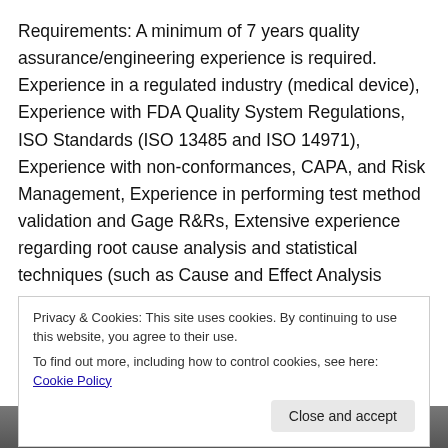Requirements: A minimum of 7 years quality assurance/engineering experience is required. Experience in a regulated industry (medical device), Experience with FDA Quality System Regulations, ISO Standards (ISO 13485 and ISO 14971), Experience with non-conformances, CAPA, and Risk Management, Experience in performing test method validation and Gage R&Rs, Extensive experience regarding root cause analysis and statistical techniques (such as Cause and Effect Analysis
Privacy & Cookies: This site uses cookies. By continuing to use this website, you agree to their use.
To find out more, including how to control cookies, see here: Cookie Policy
[Figure (photo): Bottom strip showing partial photo of people, cropped at bottom of page]